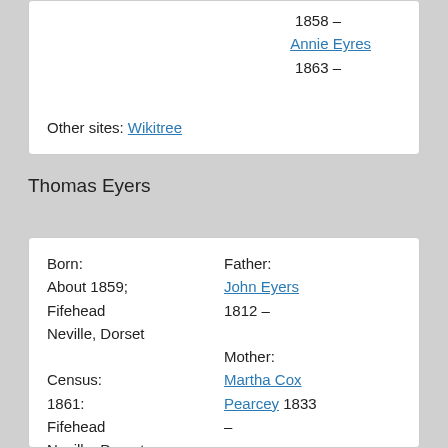1858 –
Annie Eyres
1863 –
Other sites: Wikitree
Thomas Eyers
| Born: | Father: |
| About 1859; | John Eyers |
| Fifehead | 1812 – |
| Neville, Dorset |  |
|  | Mother: |
| Census: | Martha Cox |
| 1861: | Pearcey 1833 |
| Fifehead | – |
| Neville, Dorset |  |
| 1871: | Siblings: |
| Fifehead | Love Eyers |